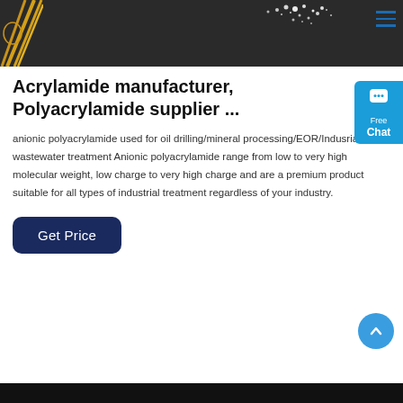[Figure (photo): Dark background with scattered white powder/crystals and geometric yellow stripes on left, hamburger menu icon top right]
Acrylamide manufacturer, Polyacrylamide supplier ...
anionic polyacrylamide used for oil drilling/mineral processing/EOR/Indusrial wastewater treatment Anionic polyacrylamide range from low to very high molecular weight, low charge to very high charge and are a premium product suitable for all types of industrial treatment regardless of your industry.
[Figure (other): Get Price button - dark navy blue rounded rectangle button]
[Figure (other): Blue circular back-to-top arrow button on right side]
[Figure (other): Cyan chat widget on right side with speech bubble icon, Free Chat text]